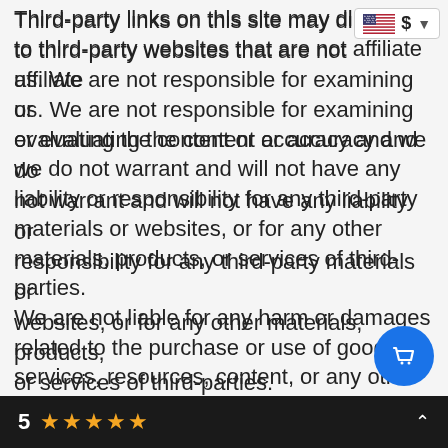Third-party links on this site may direct you to third-party websites that are not affiliated with us. We are not responsible for examining or evaluating the content or accuracy and we do not warrant and will not have any liability or responsibility for any third-party materials or websites, or for any other materials, products, or services of third-parties. We are not liable for any harm or damages related to the purchase or use of goods, services, resources, content, or any other transactions made in connection with any third-party websites. Please review carefully the third-party's policies and practices and make sure you understand them before you engage in any transaction. Complaints, claims, concerns, or questions regarding third-party
[Figure (other): US flag icon with dollar sign currency selector in top-right corner]
[Figure (other): Blue circular shopping cart button]
[Figure (other): Dark bottom bar showing rating: 5 stars with five gold stars and a chevron up icon]